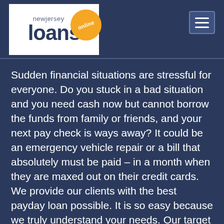[Figure (logo): New Jersey Loans Online logo — white rectangle with dark blue text 'newjersey' above large 'loans' and an orange circle with 'online' in white italic]
Sudden financial situations are stressful for everyone. Do you stuck in a bad situation and you need cash now but cannot borrow the funds from family or friends, and your next pay check is ways away? It could be an emergency vehicle repair or a bill that absolutely must be paid – in a month when they are maxed out on their credit cards. We provide our clients with the best payday loan possible. It is so easy because we truly understand your needs. Our target is not only to make sure that our services are the most personalized but also to treat our clients as the real partners.